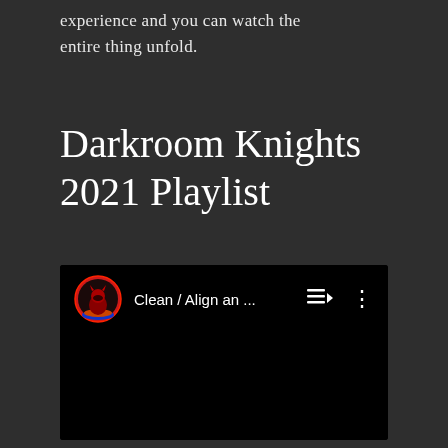experience and you can watch the entire thing unfold.
Darkroom Knights 2021 Playlist
[Figure (screenshot): YouTube playlist embed showing a channel avatar (red circle with dark devil/knight icon) and the title 'Clean / Align an ...' with playlist and more-options icons on a black background.]